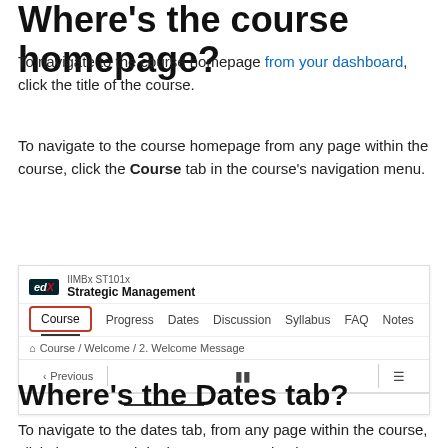Where's the course homepage?
To navigate to the course homepage from your dashboard, click the title of the course.
To navigate to the course homepage from any page within the course, click the Course tab in the course's navigation menu.
[Figure (screenshot): Screenshot of edX course navigation bar for IIMBx ST101x Strategic Management, showing tabs: Course (highlighted with red oval), Progress, Dates, Discussion, Syllabus, FAQ, Notes. Below is a breadcrumb: Home / Course / Welcome / 2. Welcome Message. Below that is a tab bar with Previous, a video icon (active, underlined), and a list icon.]
Where's the Dates tab?
To navigate to the dates tab, from any page within the course, click the Dates tab in the course's navigation menu.